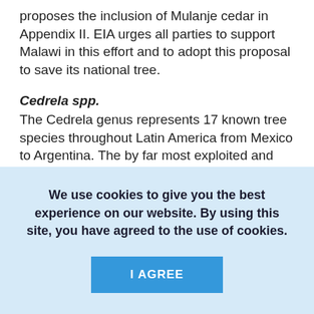proposes the inclusion of Mulanje cedar in Appendix II. EIA urges all parties to support Malawi in this effort and to adopt this proposal to save its national tree.
Cedrela spp.
The Cedrela genus represents 17 known tree species throughout Latin America from Mexico to Argentina. The by far most exploited and traded species is Cedrela odorata, also known as Spanish cedar, which the IUCN calls "one of the world's most important timber species". Spanish cedar wood has a wide range of uses from cigar boxes and crafts to veneers, moldings and
We use cookies to give you the best experience on our website. By using this site, you have agreed to the use of cookies.